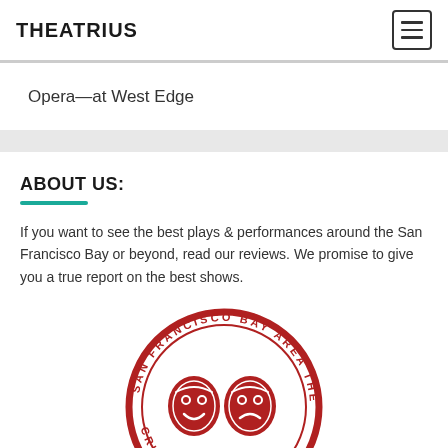THEATRIUS
Opera—at West Edge
ABOUT US:
If you want to see the best plays & performances around the San Francisco Bay or beyond, read our reviews. We promise to give you a true report on the best shows.
[Figure (logo): San Francisco Bay Area Theatre Critics Circle circular seal with comedy/tragedy masks in dark red]